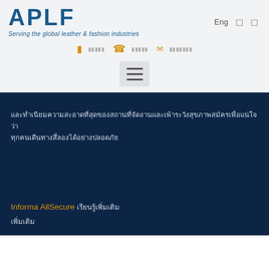APLF - Serving the global leather & fashion industries
[Figure (logo): APLF logo with tagline 'Serving the global leather & fashion industries' in blue]
[Figure (screenshot): Navigation bar with icons for contact, phone, email in orange, hamburger menu button]
Garbled/encoded text block in Thai or similar script on dark navy background
Informa AllSecure [garbled text]